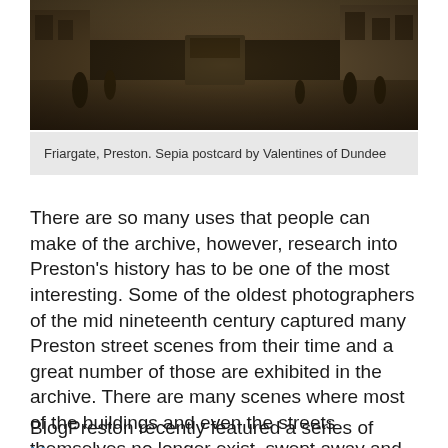[Figure (photo): Sepia photograph of Friargate, Preston street scene with people and buildings from the mid nineteenth / early twentieth century]
Friargate, Preston. Sepia postcard by Valentines of Dundee
There are so many uses that people can make of the archive, however, research into Preston’s history has to be one of the most interesting. Some of the oldest photographers of the mid nineteenth century captured many Preston street scenes from their time and a great number of those are exhibited in the archive. There are many scenes where most of the buildings and even the streets themselves no longer exist, swept away and replaced by more modern architecture or even, as often is the case, completely new roads.
BlogPreston recently featured a series of Mystery Photos from Preston Digital Archive which looked